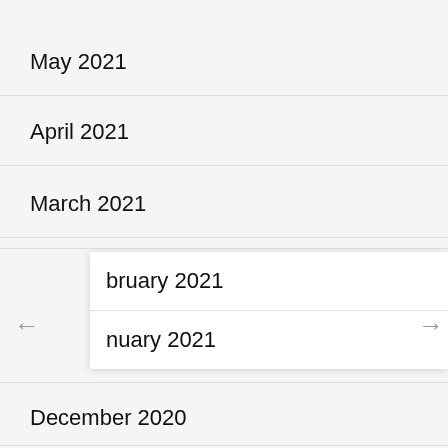May 2021
April 2021
March 2021
bruary 2021
nuary 2021
December 2020
November 2020
October 2020
September 2020